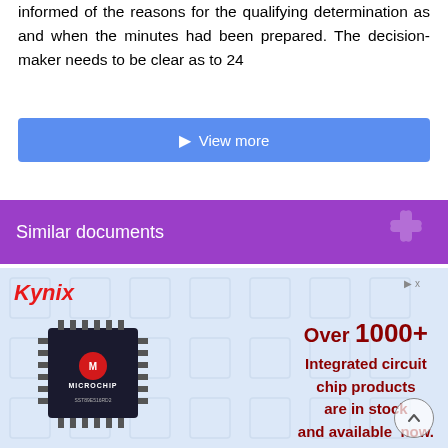informed of the reasons for the qualifying determination as and when the minutes had been prepared. The decision-maker needs to be clear as to 24
View more
Similar documents
[Figure (infographic): Kynix advertisement banner with Microchip integrated circuit chip image and text: Over 1000+ Integrated circuit chip products are in stock and available now.]